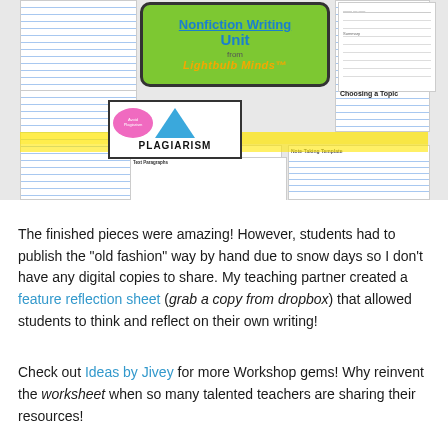[Figure (photo): Collage of nonfiction writing unit worksheets from Lightbulb Minds, including pages about plagiarism, choosing a topic, writing a summary, text fragments, and other writing activities. A green banner at top shows 'Nonfiction Writing Unit from Lightbulb Minds' in blue text. A plagiarism poster is visible in the center of the collage. Yellow highlighter strips accent the image.]
The finished pieces were amazing!  However, students had to publish the "old fashion" way by hand due to snow days so  I don't have any digital copies to share.  My teaching partner created a feature reflection sheet (grab a copy from dropbox) that allowed students to think and reflect on their own writing!
Check out  Ideas by Jivey  for more Workshop gems! Why reinvent the worksheet when so many talented teachers are sharing their resources!
Happy Workshop Wednesday!